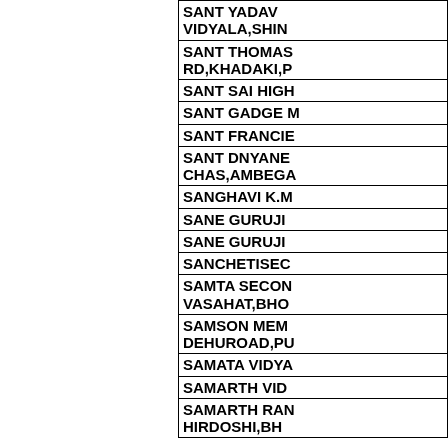| SANT YADAV... VIDYALA,SHIN... |
| SANT THOMAS RD,KHADAKI,P... |
| SANT SAI HIGH... |
| SANT GADGE M... |
| SANT FRANCIE... |
| SANT DNYANE... CHAS,AMBEGA... |
| SANGHAVI K.M... |
| SANE GURUJI ... |
| SANE GURUJI ... |
| SANCHETISEC... |
| SAMTA SECON... VASAHAT,BHO... |
| SAMSON MEM... DEHUROAD,PU... |
| SAMATA VIDYA... |
| SAMARTH VID... |
| SAMARTH RAN... HIRDOSHI,BH... |